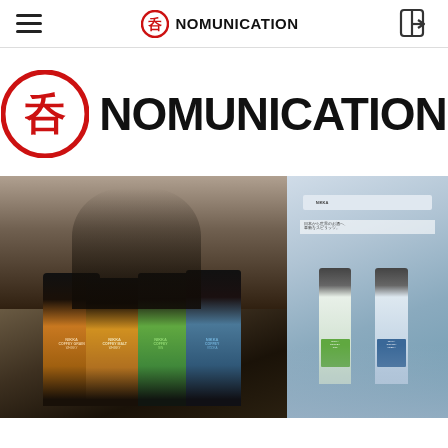NOMUNICATION
[Figure (logo): Nomunication logo: red circle with Japanese kanji 呑 inside, followed by bold text NOMUNICATION]
[Figure (photo): Photo of a person examining Nikka Coffey whisky bottles (Coffey Grain, Coffey Malt, Coffey Gin, Coffey Vodka) at what appears to be a spirits exposition, alongside a display stand with small Nikka bottles on the right side]